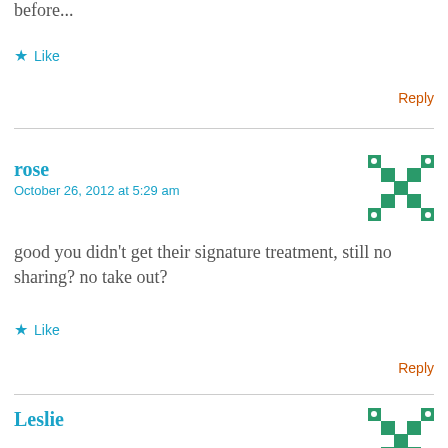before...
★ Like
Reply
rose
October 26, 2012 at 5:29 am
good you didn't get their signature treatment, still no sharing? no take out?
★ Like
Reply
Leslie